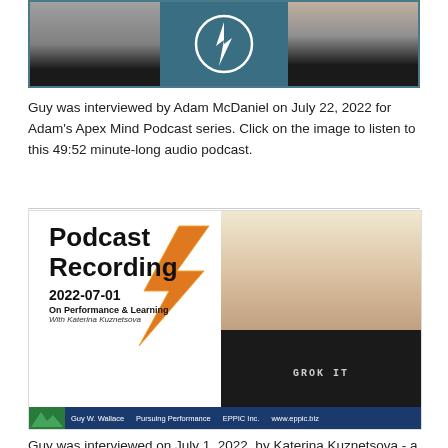[Figure (photo): Three-panel image: two headshots on left and right sides with a podcast logo/icon in the center on a teal background]
Guy was interviewed by Adam McDaniel on July 22, 2022 for Adam's Apex Mind Podcast series. Click on the image to listen to this 49:52 minute-long audio podcast.
[Figure (photo): Podcast Recording 2022-07-01 On Performance & Learning With Katerina Kuznetsova promotional image with Guy W. Wallace wearing a 'GROK IT' shirt. Bottom bar: Guy W. Wallace | Pursuing Performance | EPPIC Inc. | www.eppic.biz]
Guy was interviewed on July 1, 2022, by Katerina Kuznetsova - a